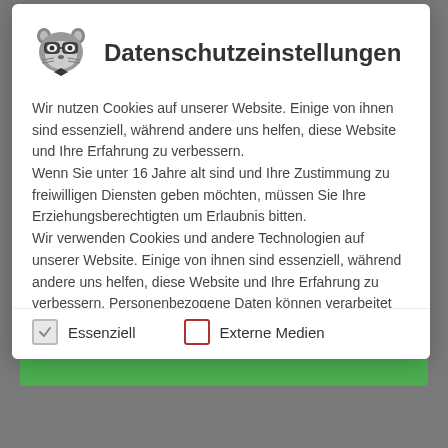[Figure (illustration): Raccoon mascot icon with glasses]
Datenschutzeinstellungen
Wir nutzen Cookies auf unserer Website. Einige von ihnen sind essenziell, während andere uns helfen, diese Website und Ihre Erfahrung zu verbessern.
Wenn Sie unter 16 Jahre alt sind und Ihre Zustimmung zu freiwilligen Diensten geben möchten, müssen Sie Ihre Erziehungsberechtigten um Erlaubnis bitten.
Wir verwenden Cookies und andere Technologien auf unserer Website. Einige von ihnen sind essenziell, während andere uns helfen, diese Website und Ihre Erfahrung zu verbessern. Personenbezogene Daten können verarbeitet werden (z. B. IP-Adressen), z. B. für personalisierte Anzeigen und Inhalte oder
Essenziell
Externe Medien
Zusammenhang steht. Jetzt darf ich erleichtert wieder in den Düften versinken!
Dankeschön, liebe liebe Erbse! 🙏🙏🙏🙏🙏🙏